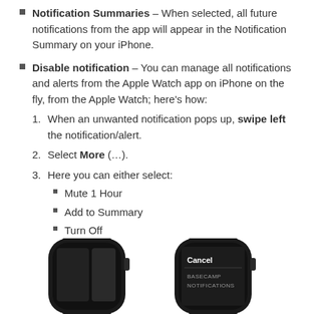Notification Summaries – When selected, all future notifications from the app will appear in the Notification Summary on your iPhone.
Disable notification – You can manage all notifications and alerts from the Apple Watch app on iPhone on the fly, from the Apple Watch; here's how:
1. When an unwanted notification pops up, swipe left the notification/alert.
2. Select More (…).
3. Here you can either select:
Mute 1 Hour
Add to Summary
Turn Off
[Figure (photo): Two Apple Watch screenshots side by side showing notification management interface. Left watch shows a dark screen with two panels. Right watch shows a menu with Cancel, BASECAMP NOTIFICATIONS text.]